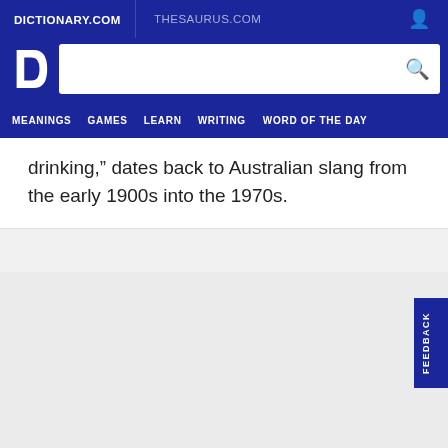DICTIONARY.COM
THESAURUS.COM
[Figure (logo): Dictionary.com logo - white D letter mark]
drinking,” dates back to Australian slang from the early 1900s into the 1970s.